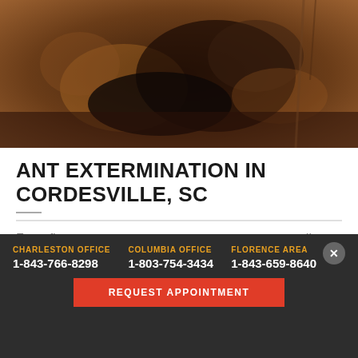[Figure (photo): Close-up macro photograph of an ant or ant colony debris on dark soil/bark background with brown and dark tones]
ANT EXTERMINATION IN CORDESVILLE, SC
From fire ants to sugar ants to carpenter ants, we all know these little creatures are a nuisance. Although they aren't particularly dangerous, ants are known for ruining food and other perishable items. They are seen on countertops
CHARLESTON OFFICE 1-843-766-8298 | COLUMBIA OFFICE 1-803-754-3434 | FLORENCE AREA 1-843-659-8640 | REQUEST APPOINTMENT